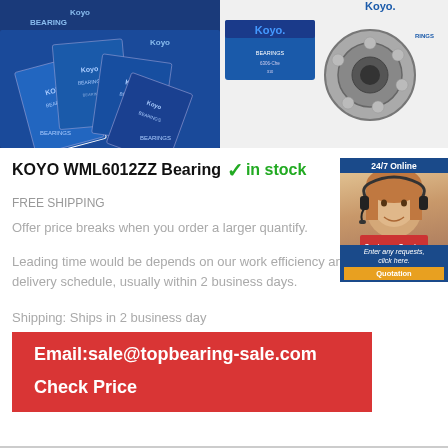[Figure (photo): Stack of KOYO Bearings boxes in blue packaging]
[Figure (photo): KOYO bearing product with box showing ball bearing]
KOYO WML6012ZZ Bearing  ✓ in stock
FREE SHIPPING
Offer price breaks when you order a larger quantify.
Leading time would be depends on our work efficiency and delivery schedule, usually within 2 business days.
Shipping: Ships in 2 business day
Email:sale@topbearing-sale.com
Check Price
[Figure (photo): Customer service representative with headset, 24/7 Online sidebar with quotation button]